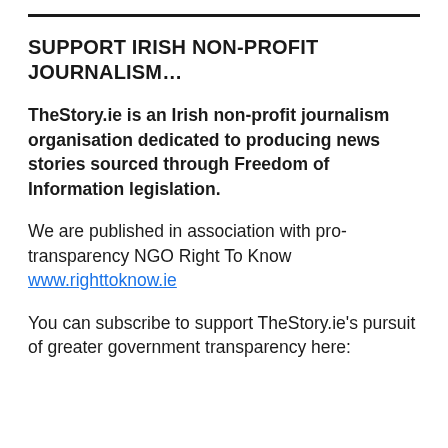SUPPORT IRISH NON-PROFIT JOURNALISM…
TheStory.ie is an Irish non-profit journalism organisation dedicated to producing news stories sourced through Freedom of Information legislation.
We are published in association with pro-transparency NGO Right To Know www.righttoknow.ie
You can subscribe to support TheStory.ie's pursuit of greater government transparency here: